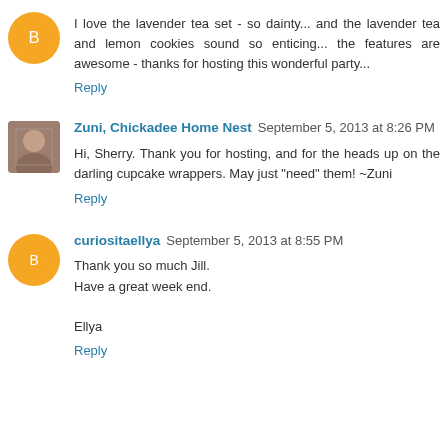I love the lavender tea set - so dainty... and the lavender tea and lemon cookies sound so enticing... the features are awesome - thanks for hosting this wonderful party...
Reply
Zuni, Chickadee Home Nest September 5, 2013 at 8:26 PM
Hi, Sherry. Thank you for hosting, and for the heads up on the darling cupcake wrappers. May just "need" them! ~Zuni
Reply
curiositaellya September 5, 2013 at 8:55 PM
Thank you so much Jill.
Have a great week end.

Ellya
Reply